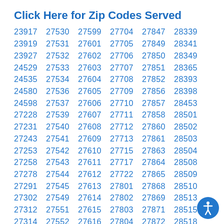Click Here for Zip Codes Served
| 23917 | 27530 | 27599 | 27704 | 27847 | 28339 |
| 23919 | 27531 | 27601 | 27705 | 27849 | 28341 |
| 23927 | 27532 | 27602 | 27706 | 27850 | 28349 |
| 24529 | 27533 | 27603 | 27707 | 27851 | 28365 |
| 24535 | 27534 | 27604 | 27708 | 27852 | 28393 |
| 24580 | 27536 | 27605 | 27709 | 27856 | 28398 |
| 24598 | 27537 | 27606 | 27710 | 27857 | 28453 |
| 27228 | 27539 | 27607 | 27711 | 27858 | 28501 |
| 27231 | 27540 | 27608 | 27712 | 27860 | 28502 |
| 27243 | 27541 | 27609 | 27713 | 27861 | 28503 |
| 27253 | 27542 | 27610 | 27715 | 27863 | 28504 |
| 27258 | 27543 | 27611 | 27717 | 27864 | 28508 |
| 27278 | 27544 | 27612 | 27722 | 27865 | 28509 |
| 27291 | 27545 | 27613 | 27801 | 27868 | 28510 |
| 27302 | 27549 | 27614 | 27802 | 27869 | 28513 |
| 27312 | 27551 | 27615 | 27803 | 27871 | 28515 |
| 27314 | 27552 | 27616 | 27804 | 27872 | 28518 |
| 27340 | 27553 | 27617 | 27805 | 27873 | 28519 |
| 27343 | 27555 | 27619 | 27806 | 27874 | 2852… |
| 27359 | 27556 | 27620 | 27807 | 27878 | 2852… |
| 27501 | 27557 | 27621 | 27808 | 27879 | 28526 |